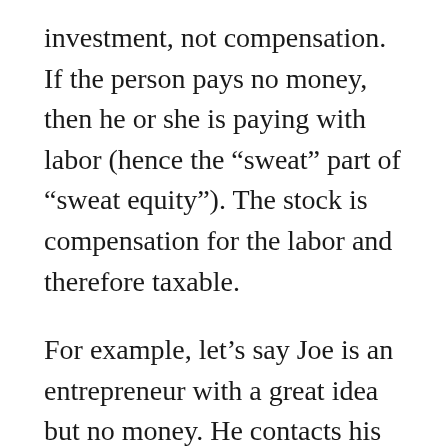investment, not compensation.  If the person pays no money, then he or she is paying with labor (hence the “sweat” part of “sweat equity”).  The stock is compensation for the labor and therefore taxable.
For example, let’s say Joe is an entrepreneur with a great idea but no money.  He contacts his friend Sue, who agrees Joe has a great idea.  She decides to invest $20,000 for 20% of the stock, and Joe gets 80% of the stock for doing the work.  Joe just received $80,000 of